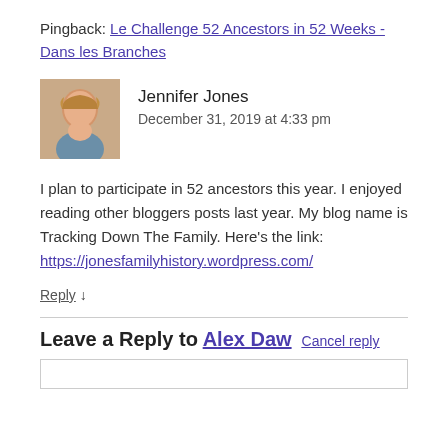Pingback: Le Challenge 52 Ancestors in 52 Weeks - Dans les Branches
[Figure (photo): Avatar photo of Jennifer Jones, a woman with short blonde hair]
Jennifer Jones
December 31, 2019 at 4:33 pm
I plan to participate in 52 ancestors this year. I enjoyed reading other bloggers posts last year. My blog name is Tracking Down The Family. Here's the link:
https://jonesfamilyhistory.wordpress.com/
Reply ↓
Leave a Reply to Alex Daw  Cancel reply